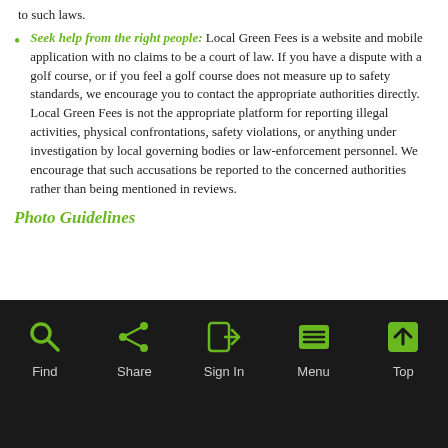to such laws.
Seek help from the right people: Local Green Fees is a website and mobile application with no claims to be a court of law. If you have a dispute with a golf course, or if you feel a golf course does not measure up to safety standards, we encourage you to contact the appropriate authorities directly. Local Green Fees is not the appropriate platform for reporting illegal activities, physical confrontations, safety violations, or anything under investigation by local governing bodies or law-enforcement personnel. We encourage that such accusations be reported to the concerned authorities rather than being mentioned in reviews.
Photo Guidelines
[Figure (screenshot): Mobile app navigation bar with dark background showing icons and labels for Find, Share, Sign In, Menu, Top]